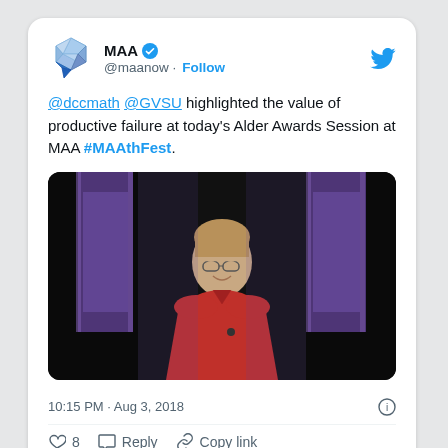[Figure (screenshot): Twitter/X post from MAA (@maanow) with verified badge. Tweet text: '@dccmath @GVSU highlighted the value of productive failure at today's Alder Awards Session at MAA #MAAthFest.' Includes a photo of a man in a red polo shirt speaking at a podium with purple-lit columns in the background. Timestamp: 10:15 PM · Aug 3, 2018. Actions: 8 likes, Reply, Copy link.]